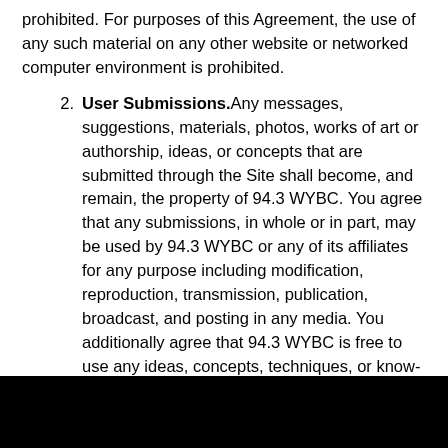prohibited. For purposes of this Agreement, the use of any such material on any other website or networked computer environment is prohibited.
User Submissions. Any messages, suggestions, materials, photos, works of art or authorship, ideas, or concepts that are submitted through the Site shall become, and remain, the property of 94.3 WYBC. You agree that any submissions, in whole or in part, may be used by 94.3 WYBC or any of its affiliates for any purpose including modification, reproduction, transmission, publication, broadcast, and posting in any media. You additionally agree that 94.3 WYBC is free to use any ideas, concepts, techniques, or know-how contained in any communication you send to or post on or via the Site for any purpose whatsoever including, but not limited to, developing, manufacturing, marketing, and selling products and services based upon such information without any obligation to compensate you or anyone else for them. By making such submissions, you